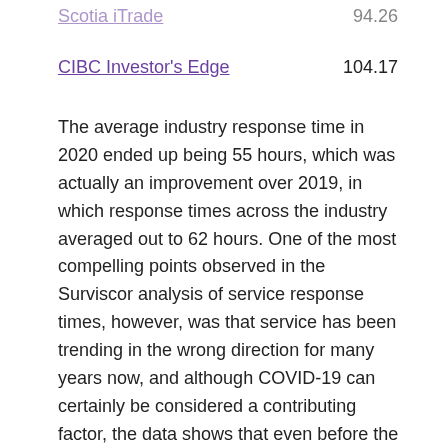Scotia iTrade	94.26
CIBC Investor's Edge	104.17
The average industry response time in 2020 ended up being 55 hours, which was actually an improvement over 2019, in which response times across the industry averaged out to 62 hours. One of the most compelling points observed in the Surviscor analysis of service response times, however, was that service has been trending in the wrong direction for many years now, and although COVID-19 can certainly be considered a contributing factor, the data shows that even before the pandemic, meeting customer response times online was a challenge.
Cl… the Ch… cl… Ch… and the Ch…